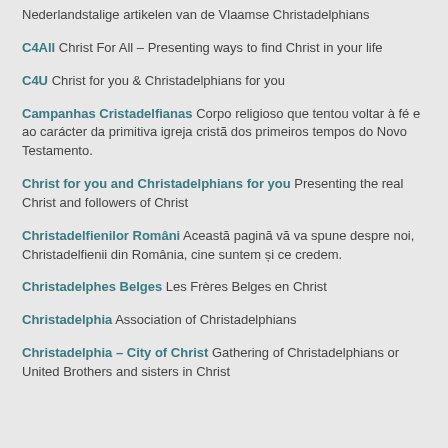Nederlandstalige artikelen van de Vlaamse Christadelphians
C4All Christ For All – Presenting ways to find Christ in your life
C4U Christ for you & Christadelphians for you
Campanhas Cristadelfianas Corpo religioso que tentou voltar à fé e ao carácter da primitiva igreja cristã dos primeiros tempos do Novo Testamento.
Christ for you and Christadelphians for you Presenting the real Christ and followers of Christ
Christadelfienilor Români Această pagină vă va spune despre noi, Christadelfienii din România, cine suntem și ce credem.
Christadelphes Belges Les Frères Belges en Christ
Christadelphia Association of Christadelphians
Christadelphia – City of Christ Gathering of Christadelphians or United Brothers and sisters in Christ